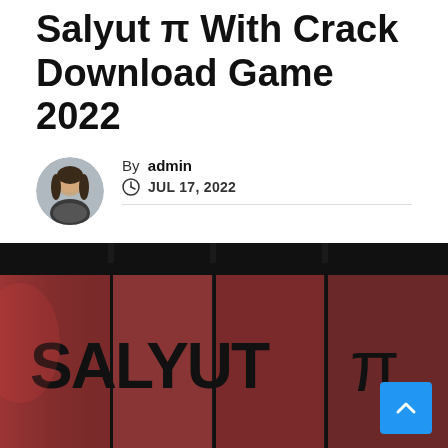Salyut π With Crack Download Game 2022
By admin
JUL 17, 2022
[Figure (photo): Game cover image showing 'SALYUT π' text on a dark reddish-brown segmented rectangular background, styled like piano keys or lockers. A blue scroll-to-top button is visible in the bottom right corner.]